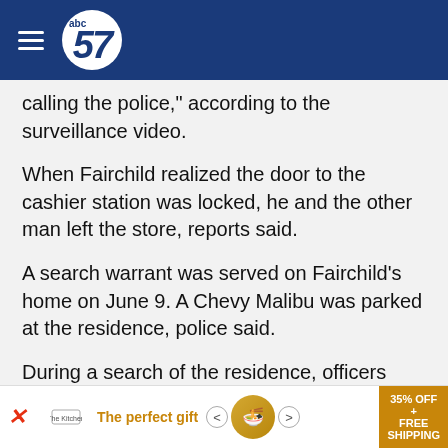abc57
calling the police," according to the surveillance video.
When Fairchild realized the door to the cashier station was locked, he and the other man left the store, reports said.
A search warrant was served on Fairchild's home on June 9. A Chevy Malibu was parked at the residence, police said.
During a search of the residence, officers found a red hooded sweatshirt, black mask, black shoes with a metallic lace strap, which were very similar to the items Fairchild wore in the surveillance video, reports said.
[Figure (advertisement): Advertisement banner: 'The perfect gift' with food image and '35% OFF + FREE SHIPPING' offer]